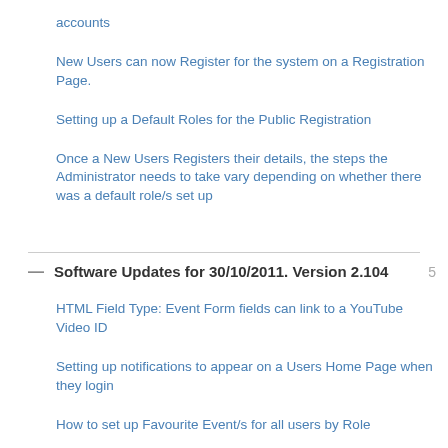accounts
New Users can now Register for the system on a Registration Page.
Setting up a Default Roles for the Public Registration
Once a New Users Registers their details, the steps the Administrator needs to take vary depending on whether there was a default role/s set up
Software Updates for 30/10/2011. Version 2.104  5
HTML Field Type: Event Form fields can link to a YouTube Video ID
Setting up notifications to appear on a Users Home Page when they login
How to set up Favourite Event/s for all users by Role
Setting a Dropdown field as an "Importance Selector" to pull data into the Important Summary Field
Linked Values can now have a numeric format and a higher or lower